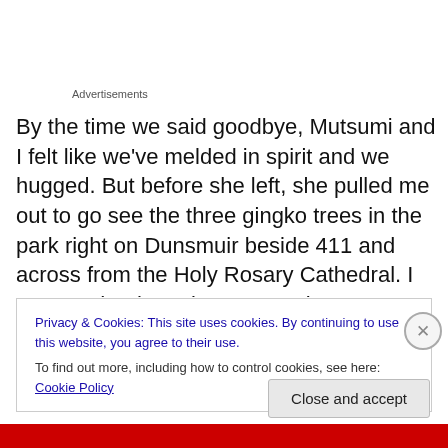Advertisements
By the time we said goodbye, Mutsumi and I felt like we've melded in spirit and we hugged. But before she left, she pulled me out to go see the three gingko trees in the park right on Dunsmuir beside 411 and across from the Holy Rosary Cathedral. I pass under these lean trees almost everyday and I know they are gingkos. But Mutsumi's excitement that afternoon has since made me see them
Privacy & Cookies: This site uses cookies. By continuing to use this website, you agree to their use.
To find out more, including how to control cookies, see here: Cookie Policy
Close and accept